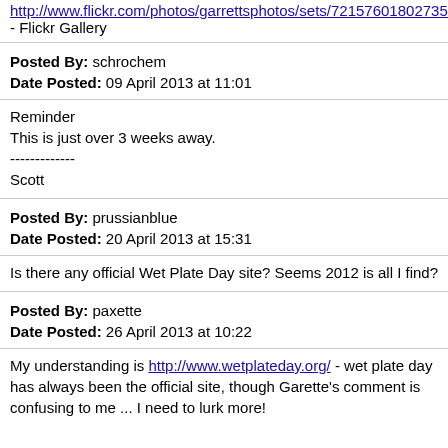http://www.flickr.com/photos/garrettsphotos/sets/72157601802735284/ - Flickr Gallery
Posted By: schrochem
Date Posted: 09 April 2013 at 11:01
Reminder
This is just over 3 weeks away.

-------------
Scott
Posted By: prussianblue
Date Posted: 20 April 2013 at 15:31
Is there any official Wet Plate Day site? Seems 2012 is all I find?
Posted By: paxette
Date Posted: 26 April 2013 at 10:22
My understanding is http://www.wetplateday.org/ - wet plate day has always been the official site, though Garette's comment is confusing to me ... I need to lurk more!